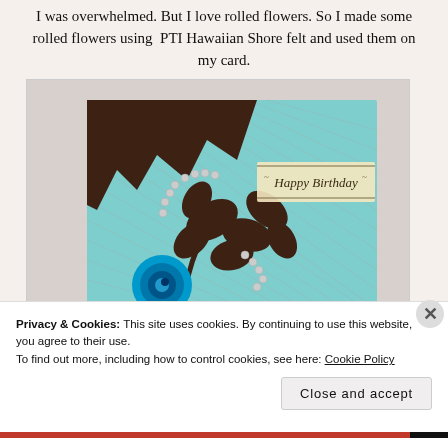I was overwhelmed. But I love rolled flowers. So I made some rolled flowers using PTI Hawaiian Shore felt and used them on my card.
[Figure (photo): A handmade birthday card with a brown and teal diamond pattern background, dark chocolate brown leaf die-cuts, a blue rolled felt flower, pearl bead embellishments, and a 'Happy Birthday' stamped sentiment on a decorative banner.]
Privacy & Cookies: This site uses cookies. By continuing to use this website, you agree to their use.
To find out more, including how to control cookies, see here: Cookie Policy
Close and accept